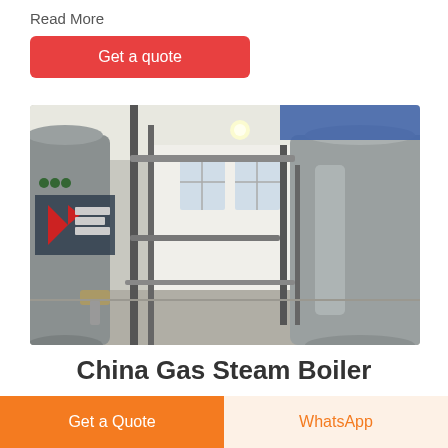Read More
Get a quote
[Figure (photo): Industrial boiler room showing two large cylindrical gas steam boilers with Chinese manufacturer branding (方快锅炉), pipes and fittings visible, industrial warehouse interior with windows in background]
China Gas Steam Boiler
Get a Quote
WhatsApp